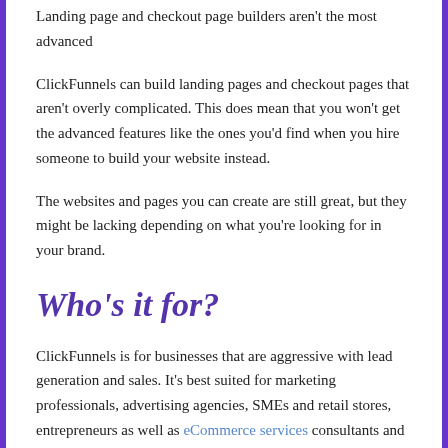Landing page and checkout page builders aren't the most advanced
ClickFunnels can build landing pages and checkout pages that aren't overly complicated. This does mean that you won't get the advanced features like the ones you'd find when you hire someone to build your website instead.
The websites and pages you can create are still great, but they might be lacking depending on what you're looking for in your brand.
Who's it for?
ClickFunnels is for businesses that are aggressive with lead generation and sales. It's best suited for marketing professionals, advertising agencies, SMEs and retail stores, entrepreneurs as well as eCommerce services consultants and coaches.
The Verdict